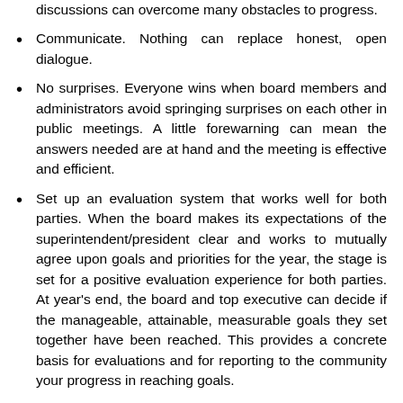discussions can overcome many obstacles to progress.
Communicate. Nothing can replace honest, open dialogue.
No surprises. Everyone wins when board members and administrators avoid springing surprises on each other in public meetings. A little forewarning can mean the answers needed are at hand and the meeting is effective and efficient.
Set up an evaluation system that works well for both parties. When the board makes its expectations of the superintendent/president clear and works to mutually agree upon goals and priorities for the year, the stage is set for a positive evaluation experience for both parties. At year's end, the board and top executive can decide if the manageable, attainable, measurable goals they set together have been reached. This provides a concrete basis for evaluations and for reporting to the community your progress in reaching goals.
Agree on roles, relationships and responsibilities. Some boards like to put this in writing. They make a list of what the role of the board and superintendent/president will be, and they agree on how they will operate well together.
Do your homework. Board members who read materials provided to them and study the issues before they make decisions earn the respect of their constituents.